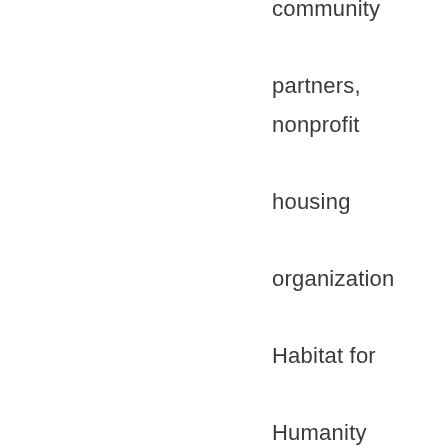community partners, nonprofit housing organization Habitat for Humanity Manitoba makes that happen by building safe, suitable, affordable housing for purchase by low-income working